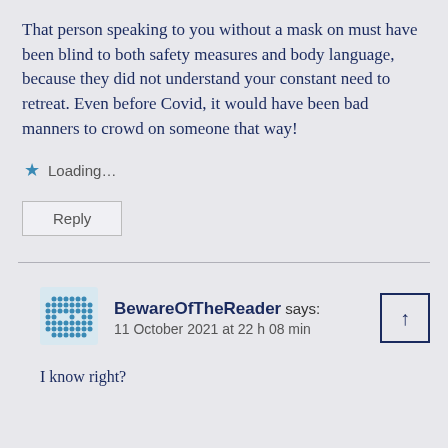That person speaking to you without a mask on must have been blind to both safety measures and body language, because they did not understand your constant need to retreat. Even before Covid, it would have been bad manners to crowd on someone that way!
Loading...
Reply
BewareOfTheReader says: 11 October 2021 at 22 h 08 min
I know right?